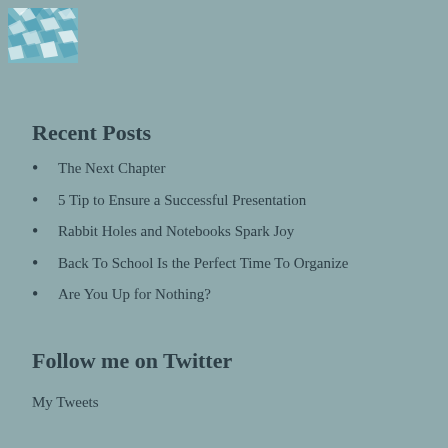[Figure (logo): Decorative logo with blue and white mosaic/leaf pattern in top-left corner]
Recent Posts
The Next Chapter
5 Tip to Ensure a Successful Presentation
Rabbit Holes and Notebooks Spark Joy
Back To School Is the Perfect Time To Organize
Are You Up for Nothing?
Follow me on Twitter
My Tweets